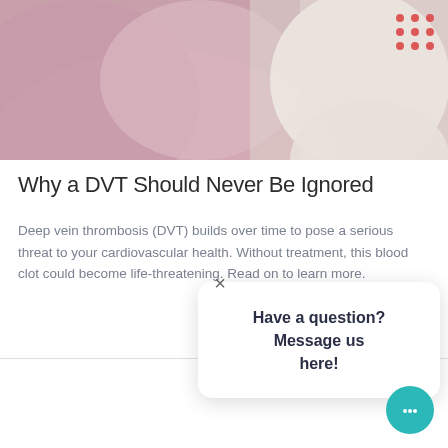[Figure (photo): Medical photo showing a patient and doctor in white coat, with decorative red dots in top-right corner]
Why a DVT Should Never Be Ignored
Deep vein thrombosis (DVT) builds over time to pose a serious threat to your cardiovascular health. Without treatment, this blood clot could become life-threatening. Read on to learn more.
Have a question? Message us here!